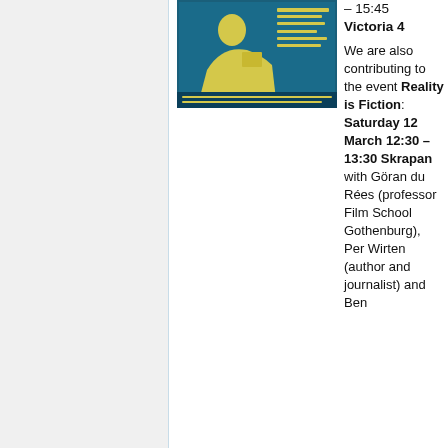[Figure (illustration): Movie poster with a person in teal/yellow color scheme with text]
– 15:45
Victoria 4

We are also contributing to the event Reality is Fiction: Saturday 12 March 12:30 – 13:30 Skrapan with Göran du Rées (professor Film School Gothenburg), Per Wirten (author and journalist) and Ben